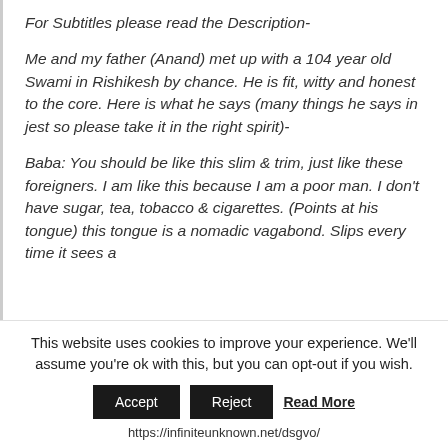For Subtitles please read the Description-
Me and my father (Anand) met up with a 104 year old Swami in Rishikesh by chance. He is fit, witty and honest to the core. Here is what he says (many things he says in jest so please take it in the right spirit)-
Baba: You should be like this slim & trim, just like these foreigners. I am like this because I am a poor man. I don’t have sugar, tea, tobacco & cigarettes. (Points at his tongue) this tongue is a nomadic vagabond. Slips every time it sees a
This website uses cookies to improve your experience. We’ll assume you’re ok with this, but you can opt-out if you wish.
Accept  Reject  Read More
https://infiniteunknown.net/dsgvo/